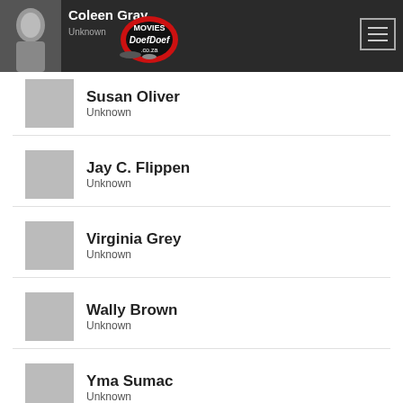MoviesDoefDoef.co.za — Coleen Gray
Susan Oliver — Unknown
Jay C. Flippen — Unknown
Virginia Grey — Unknown
Wally Brown — Unknown
Yma Sumac — Unknown
Miriam Hopkins — Unknown